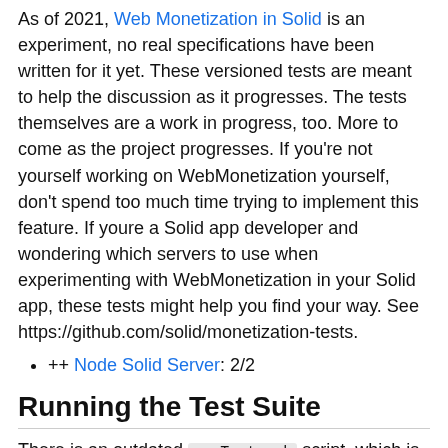As of 2021, Web Monetization in Solid is an experiment, no real specifications have been written for it yet. These versioned tests are meant to help the discussion as it progresses. The tests themselves are a work in progress, too. More to come as the project progresses. If you're not yourself working on WebMonetization yourself, don't spend too much time trying to implement this feature. If youre a Solid app developer and wondering which servers to use when experimenting with WebMonetization in your Solid app, these tests might help you find your way. See https://github.com/solid/monetization-tests.
++ Node Solid Server: 2/2
Running the Test Suite
There is an outdated runTests.sh script, which is still the best starting point to run for instance Kjetil's RDF-based tests, see old-instructions.md.